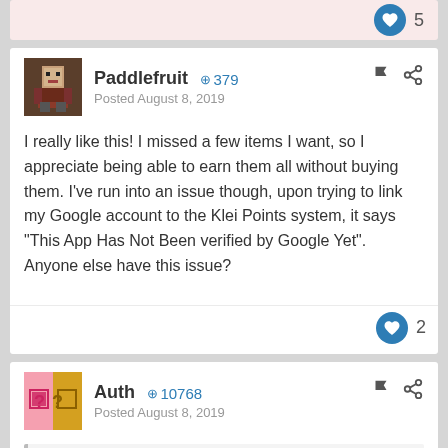5
Paddlefruit  +379
Posted August 8, 2019
I really like this! I missed a few items I want, so I appreciate being able to earn them all without buying them. I've run into an issue though, upon trying to link my Google account to the Klei Points system, it says "This App Has Not Been Verified by Google Yet". Anyone else have this issue?
2
Auth  +10768
Posted August 8, 2019
On 8/8/2019 at 11:15 PM, Paddlefruit said:
I really like this! I missed a few items I want, so I appreciate being able to earn them all without buying them. I've run into an issue though, upon trying to link my Google account